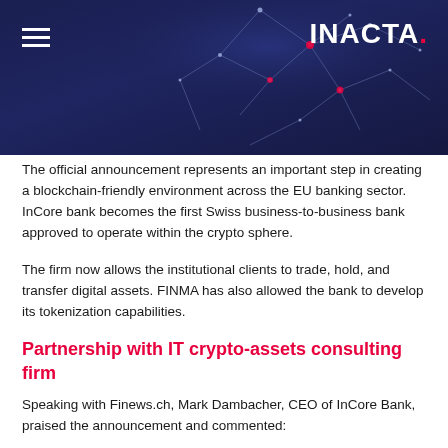[Figure (illustration): Dark blue header banner with network/blockchain node graphic connecting lines and pink dots, with hamburger menu icon on the left and INACTA logo with red dot on the right]
The official announcement represents an important step in creating a blockchain-friendly environment across the EU banking sector. InCore bank becomes the first Swiss business-to-business bank approved to operate within the crypto sphere.
The firm now allows the institutional clients to trade, hold, and transfer digital assets. FINMA has also allowed the bank to develop its tokenization capabilities.
Partnership with IT crypto-assets consulting firm
Speaking with Finews.ch, Mark Dambacher, CEO of InCore Bank, praised the announcement and commented: